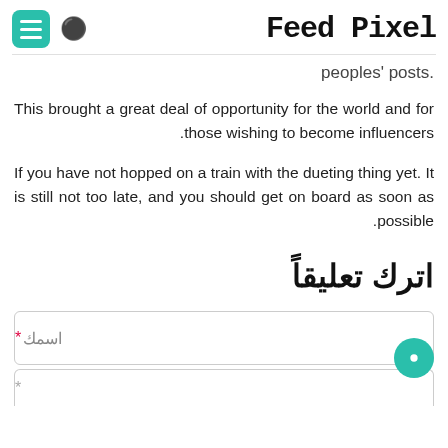Feed Pixel
.peoples' posts
This brought a great deal of opportunity for the world and for those wishing to become influencers.
If you have not hopped on a train with the dueting thing yet. It is still not too late, and you should get on board as soon as possible.
اترك تعليقاً
اسمك *
البريد الإلكتروني *